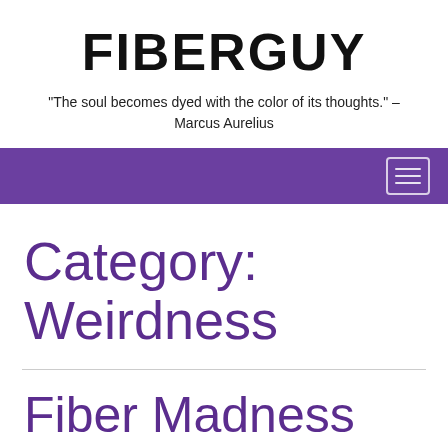FIBERGUY
"The soul becomes dyed with the color of its thoughts." – Marcus Aurelius
Category: Weirdness
Fiber Madness